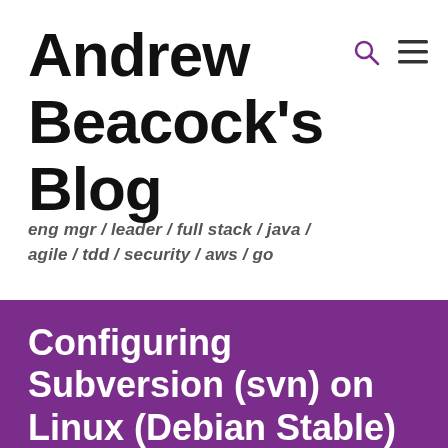Andrew Beacock's Blog
eng mgr / leader / full stack / java / agile / tdd / security / aws / go
Configuring Subversion (svn) on Linux (Debian Stable)